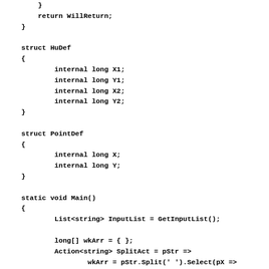}
        return WillReturn;
    }

    struct HuDef
    {
            internal long X1;
            internal long Y1;
            internal long X2;
            internal long Y2;
    }

    struct PointDef
    {
            internal long X;
            internal long Y;
    }

    static void Main()
    {
            List<string> InputList = GetInputList();

            long[] wkArr = { };
            Action<string> SplitAct = pStr =>
                    wkArr = pStr.Split(' ').Select(pX =>